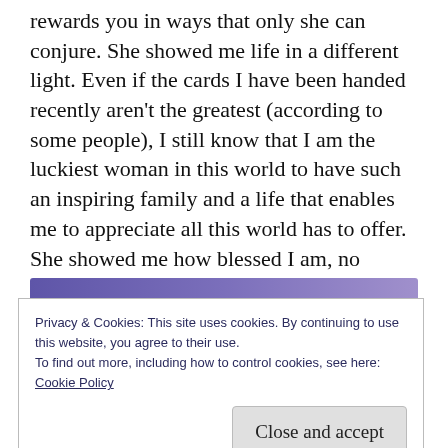rewards you in ways that only she can conjure. She showed me life in a different light. Even if the cards I have been handed recently aren't the greatest (according to some people), I still know that I am the luckiest woman in this world to have such an inspiring family and a life that enables me to appreciate all this world has to offer. She showed me how blessed I am, no matter what life has in store for me.
[Figure (photo): Purple/violet header bar of a blog or website, partially visible at the top of the image section.]
Privacy & Cookies: This site uses cookies. By continuing to use this website, you agree to their use.
To find out more, including how to control cookies, see here:
Cookie Policy
Close and accept
[Figure (photo): Partial outdoor photograph visible at the very bottom of the page, showing trees or landscape.]